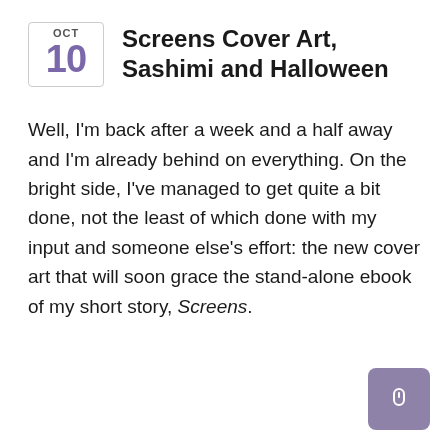Screens Cover Art, Sashimi and Halloween
Well, I'm back after a week and a half away and I'm already behind on everything. On the bright side, I've managed to get quite a bit done, not the least of which done with my input and someone else's effort: the new cover art that will soon grace the stand-alone ebook of my short story, Screens.